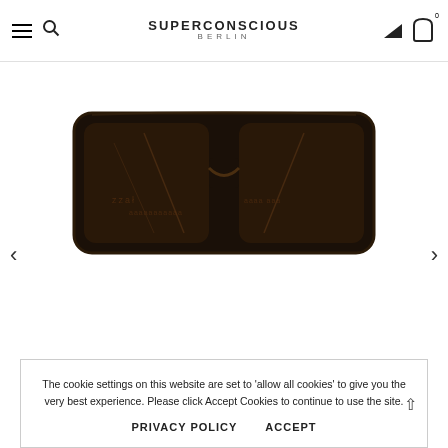SUPERCONSCIOUS BERLIN
[Figure (photo): Close-up photo of dark brown/black sunglasses viewed from the front, showing the inside of the lenses and nose bridge area. The frames are thick and angular. Photographed against a white background.]
The cookie settings on this website are set to 'allow all cookies' to give you the very best experience. Please click Accept Cookies to continue to use the site.
PRIVACY POLICY    ACCEPT